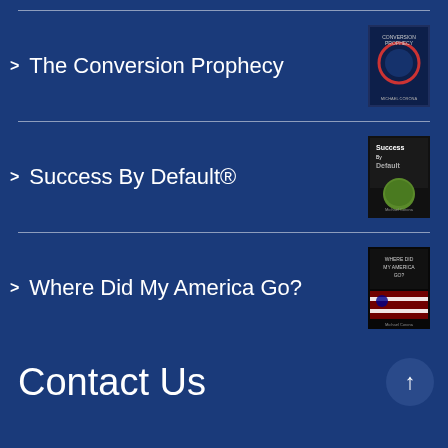The Conversion Prophecy
[Figure (illustration): Book cover for The Conversion Prophecy]
Success By Default®
[Figure (illustration): Book cover for Success By Default]
Where Did My America Go?
[Figure (illustration): Book cover for Where Did My America Go?]
Contact Us
Success Talk, Inc
Boca Raton, FL 33496